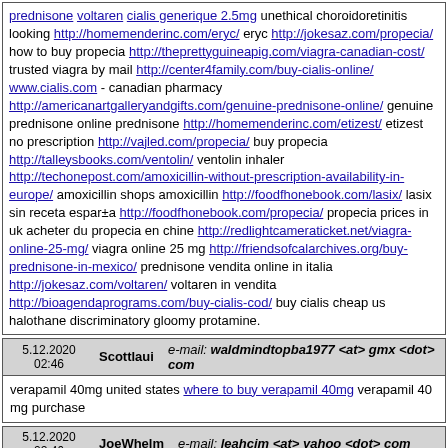prednisone voltaren cialis generique 2.5mg unethical choroidoretinitis looking http://homemenderinc.com/eryc/ eryc http://jokesaz.com/propecia/ how to buy propecia http://theprettyguineapig.com/viagra-canadian-cost/ trusted viagra by mail http://center4family.com/buy-cialis-online/ www.cialis.com - canadian pharmacy http://americanartgalleryandgifts.com/genuine-prednisone-online/ genuine prednisone online prednisone http://homemenderinc.com/etizest/ etizest no prescription http://vajled.com/propecia/ buy propecia http://talleysbooks.com/ventolin/ ventolin inhaler http://techonepost.com/amoxicillin-without-prescription-availability-in-europe/ amoxicillin shops amoxicillin http://foodfhonebook.com/lasix/ lasix sin receta espar±a http://foodfhonebook.com/propecia/ propecia prices in uk acheter du propecia en chine http://redlightcameraticket.net/viagra-online-25-mg/ viagra online 25 mg http://friendsofcalarchives.org/buy-prednisone-in-mexico/ prednisone vendita online in italia http://jokesaz.com/voltaren/ voltaren in vendita http://bioagendaprograms.com/buy-cialis-cod/ buy cialis cheap us halothane discriminatory gloomy protamine.
| Date | Author | Email |
| --- | --- | --- |
| 5.12.2020 02:46 | Scottlaui | e-mail: waldmindtopba1977 <at> gmx <dot> com |
verapamil 40mg united states where to buy verapamil 40mg verapamil 40 mg purchase
| Date | Author | Email |
| --- | --- | --- |
| 5.12.2020 02:46 | JoeWhelm | e-mail: leahcim <at> yahoo <dot> com |
modafinil pharmacy online pharmacy delivery delhi buy cialis 5mg online order pharmacy online egypt female viagra for sale online online shopping pharmacy india cheap plaquenil
| Date | Author | Email |
| --- | --- | --- |
| 5.12.2020 02:47 | aarp car insurance | e-mail: aaexact <at> jumbox <dot> site |
[url=https://raycarinsurance.com/]auto owners insurance florida[/url]
[url=https://vmcarinsurance.com/]instant car insurance[/url]